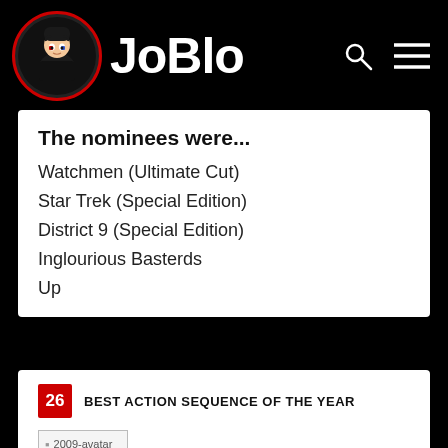JoBlo
The nominees were...
Watchmen (Ultimate Cut)
Star Trek (Special Edition)
District 9 (Special Edition)
Inglourious Basterds
Up
26 BEST ACTION SEQUENCE OF THE YEAR
[Figure (photo): 2009-avatar image placeholder]
Avatar - Battle for Pandora
Runner-Up: Inglourious Basterds - Theater massacre
The nominees were...
Avatar - Battle for Pandora
Inglourious Basterds - Theater massacre